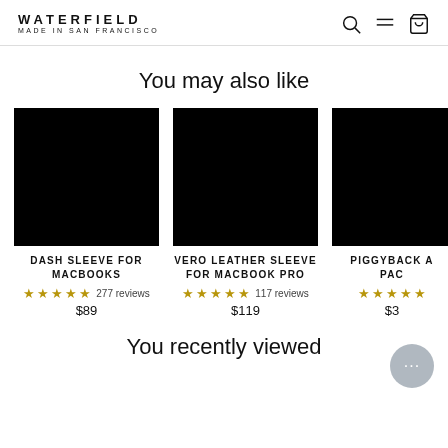WATERFIELD MADE IN SAN FRANCISCO
You may also like
[Figure (photo): Black product image for Dash Sleeve for MacBooks]
DASH SLEEVE FOR MACBOOKS
★★★★★ 277 reviews
$89
[Figure (photo): Black product image for Vero Leather Sleeve for MacBook Pro]
VERO LEATHER SLEEVE FOR MACBOOK PRO
★★★★★ 117 reviews
$119
[Figure (photo): Partially visible black product image for Piggyback Pack]
PIGGYBACK A... PAC...
★★★★★
$3...
You recently viewed